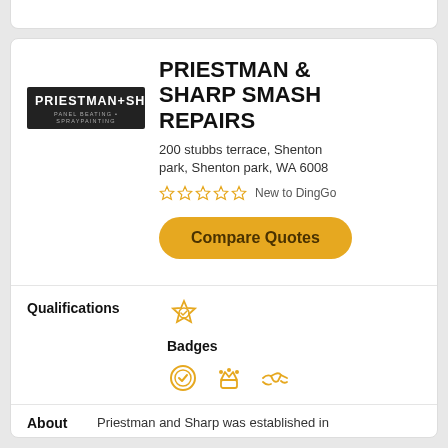[Figure (logo): Priestman + Sharp panel beating and spraypainting logo, black background with white text]
PRIESTMAN & SHARP SMASH REPAIRS
200 stubbs terrace, Shenton park, Shenton park, WA 6008
New to DingGo
Compare Quotes
Qualifications
Badges
About
Priestman and Sharp was established in